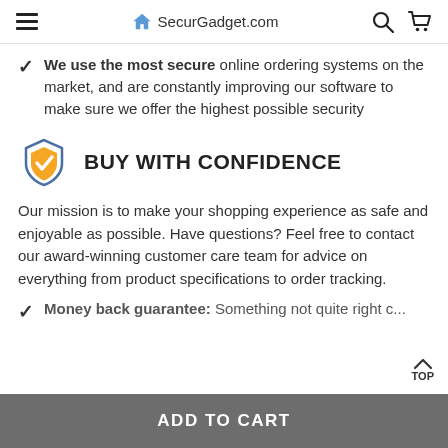SecurGadget.com
We use the most secure online ordering systems on the market, and are constantly improving our software to make sure we offer the highest possible security
BUY WITH CONFIDENCE
Our mission is to make your shopping experience as safe and enjoyable as possible. Have questions? Feel free to contact our award-winning customer care team for advice on everything from product specifications to order tracking.
Money back guarantee: Something not quite right c...